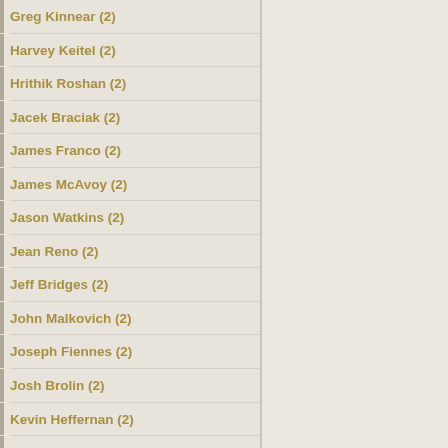Greg Kinnear (2)
Harvey Keitel (2)
Hrithik Roshan (2)
Jacek Braciak (2)
James Franco (2)
James McAvoy (2)
Jason Watkins (2)
Jean Reno (2)
Jeff Bridges (2)
John Malkovich (2)
Joseph Fiennes (2)
Josh Brolin (2)
Kevin Heffernan (2)
Kevin Smith (2)
Kofi Kingston (2)
Krzysztof Stelmaszyk (2)